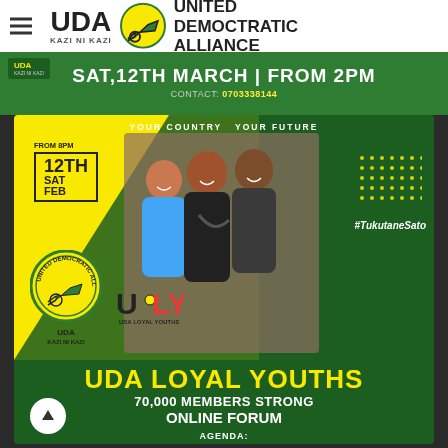[Figure (logo): UDA (United Democratic Alliance) logo with wheelbarrow icon and text 'KAZI NI KAZI' alongside 'UNITED DEMOCRATIC ALLIANCE' in top navigation bar]
SAT,12TH MARCH | FROM 2PM
CONTACT: 0703338144
[Figure (infographic): UDA Loyal Youths event poster with green and yellow design, photo of three smiling youth, date box showing FROM 8PM / 12TH SAT FEB, UDA and ULY logos, dots grid decoration, hashtag #TukutaneSato, tagline YOUR COUNTRY YOUR FUTURE, and event details below]
UDA LOYAL YOUTHS
70,000 MEMBERS STRONG ONLINE FORUM
AGENDA:
PARTICIPATE ACTIVELY ON UDA YOUTH POLITICS
WHAT IS UDA YOUTH CONGRESS ?
MEETING LINK: https://bit.ly/udayouths